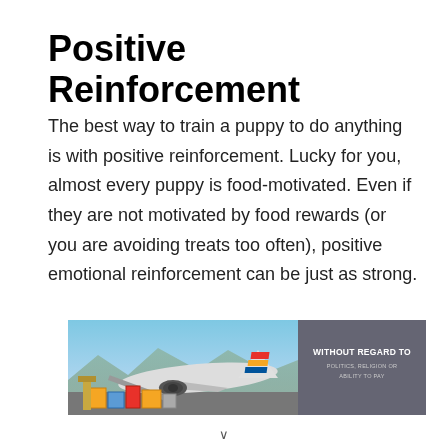Positive Reinforcement
The best way to train a puppy to do anything is with positive reinforcement. Lucky for you, almost every puppy is food-motivated. Even if they are not motivated by food rewards (or you are avoiding treats too often), positive emotional reinforcement can be just as strong.
[Figure (photo): Advertisement banner showing an airplane being loaded with cargo on a tarmac with mountains in background, with a dark gray panel on the right reading 'WITHOUT REGARD TO POLITICS, RELIGION OR ABILITY TO PAY']